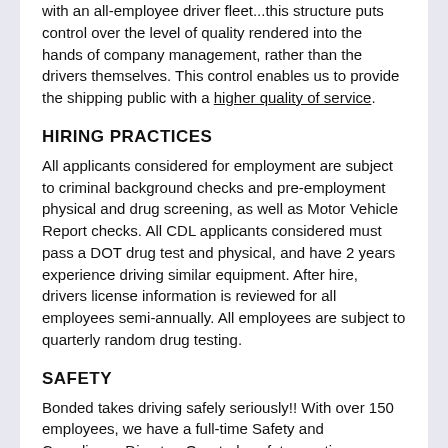with an all-employee driver fleet...this structure puts control over the level of quality rendered into the hands of company management, rather than the drivers themselves. This control enables us to provide the shipping public with a higher quality of service.
HIRING PRACTICES
All applicants considered for employment are subject to criminal background checks and pre-employment physical and drug screening, as well as Motor Vehicle Report checks. All CDL applicants considered must pass a DOT drug test and physical, and have 2 years experience driving similar equipment. After hire, drivers license information is reviewed for all employees semi-annually. All employees are subject to quarterly random drug testing.
SAFETY
Bonded takes driving safely seriously!! With over 150 employees, we have a full-time Safety and Compliance Director. Quarterly safety meetings are held; topics of discussion include: proper securing and handling of freight, review of company policies on safety driving, safety on and off the job.